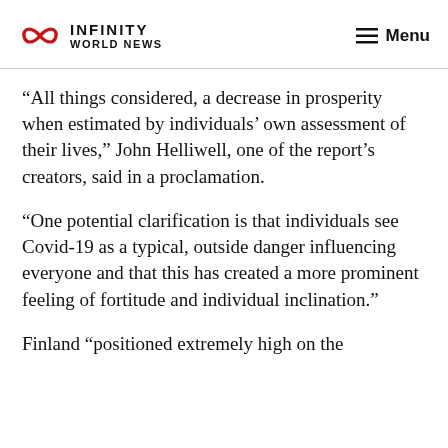INFINITY WORLD NEWS  Menu
“All things considered, a decrease in prosperity when estimated by individuals’ own assessment of their lives,” John Helliwell, one of the report’s creators, said in a proclamation.
“One potential clarification is that individuals see Covid-19 as a typical, outside danger influencing everyone and that this has created a more prominent feeling of fortitude and individual inclination.”
Finland “positioned extremely high on the